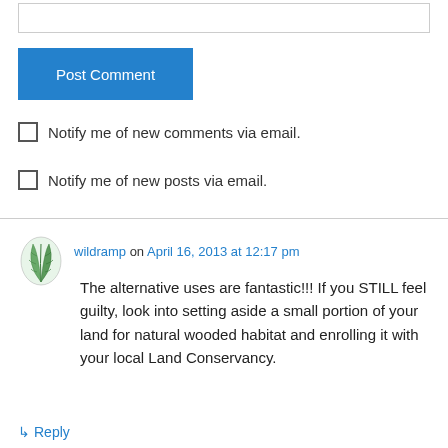[input box]
Post Comment
Notify me of new comments via email.
Notify me of new posts via email.
wildramp on April 16, 2013 at 12:17 pm
The alternative uses are fantastic!!! If you STILL feel guilty, look into setting aside a small portion of your land for natural wooded habitat and enrolling it with your local Land Conservancy.
↳ Reply